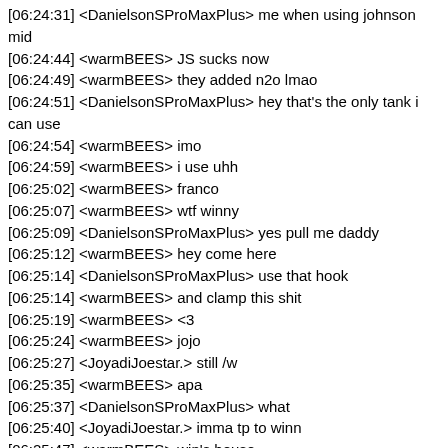[06:24:31] <DanielsonSProMaxPlus> me when using johnson mid
[06:24:44] <warmBEES> JS sucks now
[06:24:49] <warmBEES> they added n2o lmao
[06:24:51] <DanielsonSProMaxPlus> hey that's the only tank i can use
[06:24:54] <warmBEES> imo
[06:24:59] <warmBEES> i use uhh
[06:25:02] <warmBEES> franco
[06:25:07] <warmBEES> wtf winny
[06:25:09] <DanielsonSProMaxPlus> yes pull me daddy
[06:25:12] <warmBEES> hey come here
[06:25:14] <DanielsonSProMaxPlus> use that hook
[06:25:14] <warmBEES> and clamp this shit
[06:25:19] <warmBEES> <3
[06:25:24] <warmBEES> jojo
[06:25:27] <JoyadiJoestar.> still /w
[06:25:35] <warmBEES> apa
[06:25:37] <DanielsonSProMaxPlus> what
[06:25:40] <JoyadiJoestar.> imma tp to winn
[06:25:47] <warmBEES> win's house
[06:26:03] <DanielsonSProMaxPlus> awkoawkawok
[06:26:05] <DanielsonSProMaxPlus> ngapain dip
[06:26:10] <dipa> nggk tau lagi oleng
[06:26:13] <Azathoth> poaisdfgkj
[06:26:13] <DanielsonSProMaxPlus> nabrak tembok